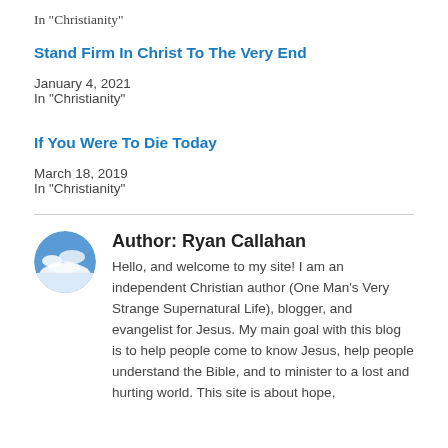In "Christianity"
Stand Firm In Christ To The Very End
January 4, 2021
In "Christianity"
If You Were To Die Today
March 18, 2019
In "Christianity"
[Figure (photo): Circular avatar photo showing blue sky with clouds, author profile picture for Ryan Callahan]
Author: Ryan Callahan
Hello, and welcome to my site! I am an independent Christian author (One Man's Very Strange Supernatural Life), blogger, and evangelist for Jesus. My main goal with this blog is to help people come to know Jesus, help people understand the Bible, and to minister to a lost and hurting world. This site is about hope,